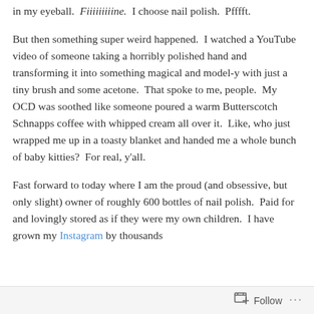in my eyeball.  Fiiiiiiiiine.  I choose nail polish.  Pfffft.
But then something super weird happened.  I watched a YouTube video of someone taking a horribly polished hand and transforming it into something magical and model-y with just a tiny brush and some acetone.  That spoke to me, people.  My OCD was soothed like someone poured a warm Butterscotch Schnapps coffee with whipped cream all over it.  Like, who just wrapped me up in a toasty blanket and handed me a whole bunch of baby kitties?  For real, y'all.
Fast forward to today where I am the proud (and obsessive, but only slight) owner of roughly 600 bottles of nail polish.  Paid for and lovingly stored as if they were my own children.  I have grown my Instagram by thousands
Follow ...